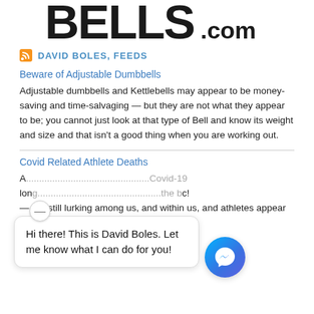[Figure (logo): Bells.com website logo — large bold distressed font showing 'BELLS.com']
DAVID BOLES, FEEDS
Beware of Adjustable Dumbbells
Adjustable dumbbells and Kettlebells may appear to be money-saving and time-salvaging — but they are not what they appear to be; you cannot just look at that type of Bell and know its weight and size and that isn't a good thing when you are working out.
Covid Related Athlete Deaths
A... Covid-19... long... the b...c! — are still lurking among us, and within us, and athletes appear to be at higher risk of future Covid damage to the heart than...
[Figure (screenshot): Facebook Messenger chat overlay: minimize button, speech bubble saying 'Hi there! This is David Boles. Let me know what I can do for you!', and circular messenger icon]